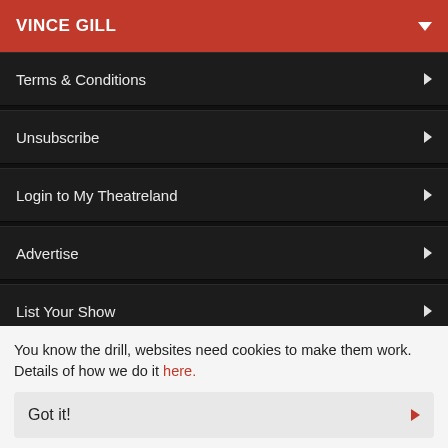VINCE GILL
Terms & Conditions
Unsubscribe
Login to My Theatreland
Advertise
List Your Show
Theatreland Gift Cards
Buyer Guarantee
You know the drill, websites need cookies to make them work. Details of how we do it here.
Got it!